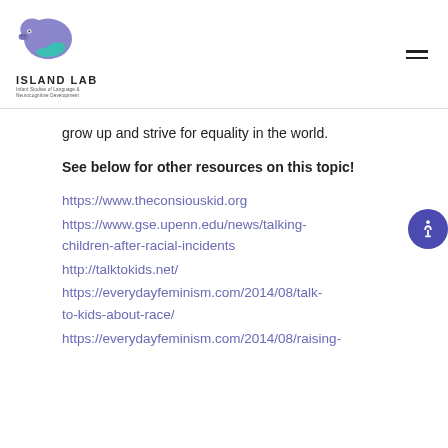[Figure (logo): Island Lab logo — a stylized manatee/brain figure in purple and teal, with text ISLAND LAB and subtitle Infant Studies of Language & Neurocognitive Development]
grow up and strive for equality in the world.
See below for other resources on this topic!
https://www.theconsiouskid.org
https://www.gse.upenn.edu/news/talking-children-after-racial-incidents
http://talktokids.net/
https://everydayfeminism.com/2014/08/talk-to-kids-about-race/
https://everydayfeminism.com/2014/08/raising-